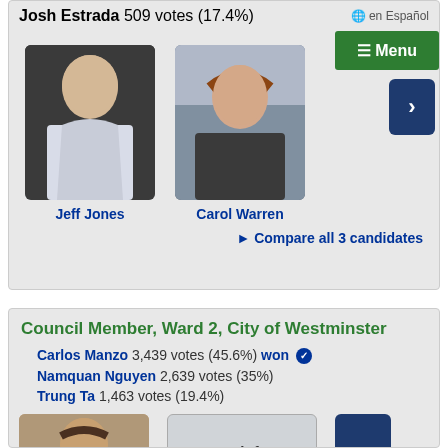Josh Estrada  509 votes (17.4%)
en Español
☰ Menu
[Figure (photo): Photo of Jeff Jones, male candidate in white shirt]
Jeff Jones
[Figure (photo): Photo of Carol Warren, female candidate in dark jacket]
Carol Warren
⊙ Compare all 3 candidates
Council Member, Ward 2, City of Westminster
Carlos Manzo  3,439 votes (45.6%)  won ✓
Namquan Nguyen  2,639 votes (35%)
Trung Ta  1,463 votes (19.4%)
[Figure (photo): Photo of Carlos Manzo, male candidate with mustache]
No info provided